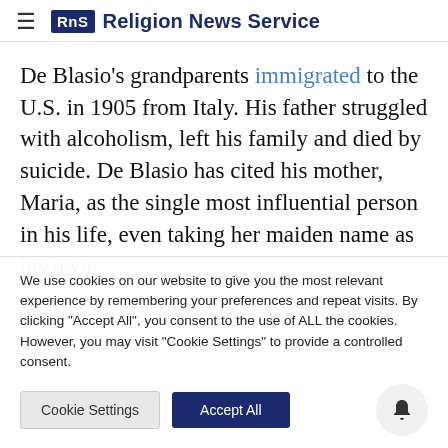≡ RNS Religion News Service
De Blasio's grandparents immigrated to the U.S. in 1905 from Italy. His father struggled with alcoholism, left his family and died by suicide. De Blasio has cited his mother, Maria, as the single most influential person in his life, even taking her maiden name as his own
We use cookies on our website to give you the most relevant experience by remembering your preferences and repeat visits. By clicking "Accept All", you consent to the use of ALL the cookies. However, you may visit "Cookie Settings" to provide a controlled consent.